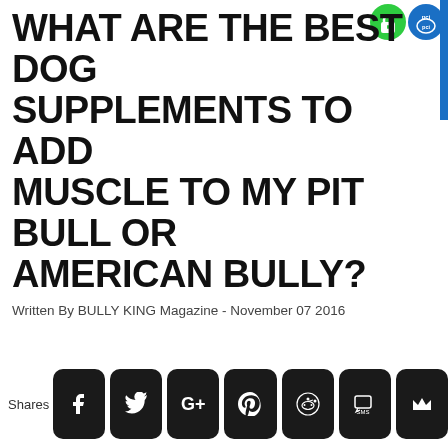WHAT ARE THE BEST DOG SUPPLEMENTS TO ADD MUSCLE TO MY PIT BULL OR AMERICAN BULLY?
Written By BULLY KING Magazine - November 07 2016
[Figure (logo): Green padlock security badge and blue PCI compliance badge in top-right corner]
[Figure (infographic): Social share buttons bar at bottom: Facebook, Twitter, Google+, Pinterest, Reddit, SMS, and a crown/share icon button. Label 'Shares' on left.]